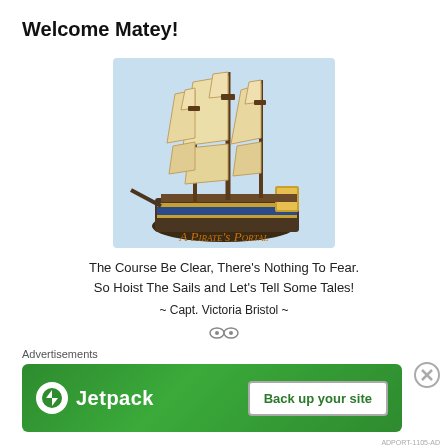Welcome Matey!
[Figure (illustration): A detailed illustration of a tall sailing ship (galleon) with multiple masts and full sails, on a light blue background. Below the ship is the text 'A Pirate's Portal' in decorative orange serif font.]
The Course Be Clear, There's Nothing To Fear.
So Hoist The Sails and Let's Tell Some Tales!
~ Capt. Victoria Bristol ~
Advertisements
[Figure (screenshot): Jetpack advertisement banner with green background showing Jetpack logo and 'Back up your site' button]